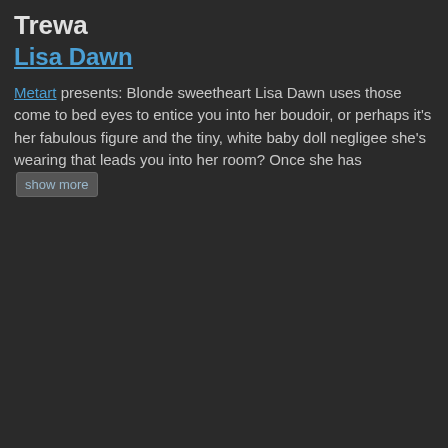Trewa
Lisa Dawn
Metart presents: Blonde sweetheart Lisa Dawn uses those come to bed eyes to entice you into her boudoir, or perhaps it's her fabulous figure and the tiny, white baby doll negligee she's wearing that leads you into her room? Once she has  show more